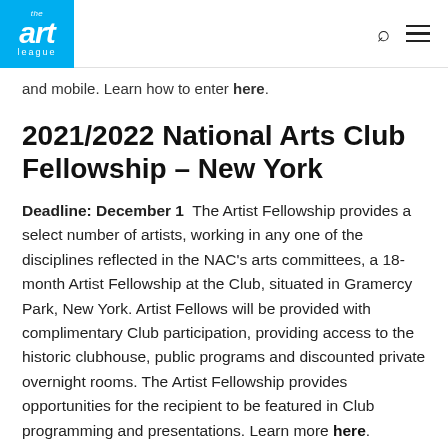the art league
and mobile. Learn how to enter here.
2021/2022 National Arts Club Fellowship – New York
Deadline: December 1   The Artist Fellowship provides a select number of artists, working in any one of the disciplines reflected in the NAC's arts committees, a 18-month Artist Fellowship at the Club, situated in Gramercy Park, New York. Artist Fellows will be provided with complimentary Club participation, providing access to the historic clubhouse, public programs and discounted private overnight rooms. The Artist Fellowship provides opportunities for the recipient to be featured in Club programming and presentations. Learn more here.